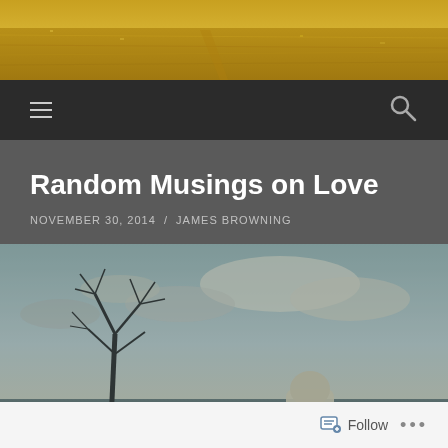[Figure (photo): Golden yellow field/meadow header photo]
[Figure (other): Navigation bar with hamburger menu icon on left and search icon on right, dark background]
Random Musings on Love
NOVEMBER 30, 2014 / JAMES BROWNING
[Figure (photo): Moody outdoor photo showing a bare winter tree on the left and a hooded figure from behind, against a cloudy sky, with teal/sepia color grading]
Follow ...